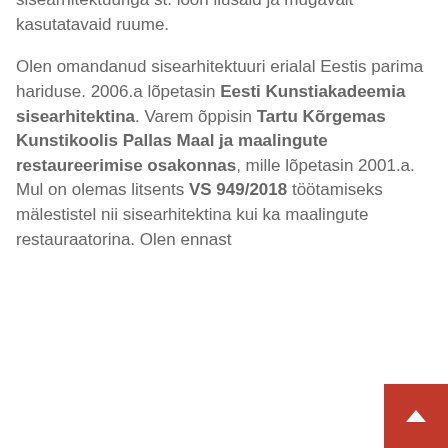sisearhitektuuriga st. loon ilusaid ja mugavalt kasutatavaid ruume.

Olen omandanud sisearhitektuuri erialal Eestis parima hariduse. 2006.a lõpetasin Eesti Kunstiakadeemia sisearhitektina. Varem õppisin Tartu Kõrgemas Kunstikoolis Pallas Maal ja maalingute restaureerimise osakonnas, mille lõpetasin 2001.a. Mul on olemas litsents VS 949/2018 töötamiseks mälestistel nii sisearhitektina kui ka maalingute restauraatorina. Olen ennast